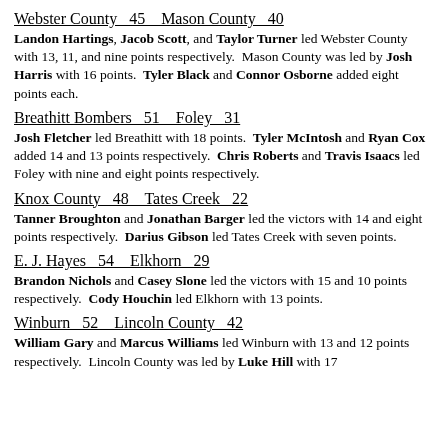Webster County   45     Mason County   40
Landon Hartings, Jacob Scott, and Taylor Turner led Webster County with 13, 11, and nine points respectively.  Mason County was led by Josh Harris with 16 points.  Tyler Black and Connor Osborne added eight points each.
Breathitt Bombers   51     Foley   31
Josh Fletcher led Breathitt with 18 points.  Tyler McIntosh and Ryan Cox added 14 and 13 points respectively.  Chris Roberts and Travis Isaacs led Foley with nine and eight points respectively.
Knox County   48     Tates Creek   22
Tanner Broughton and Jonathan Barger led the victors with 14 and eight points respectively.  Darius Gibson led Tates Creek with seven points.
E. J. Hayes   54     Elkhorn   29
Brandon Nichols and Casey Slone led the victors with 15 and 10 points respectively.  Cody Houchin led Elkhorn with 13 points.
Winburn   52     Lincoln County   42
William Gary and Marcus Williams led Winburn with 13 and 12 points respectively.  Lincoln County was led by Luke Hill with 17